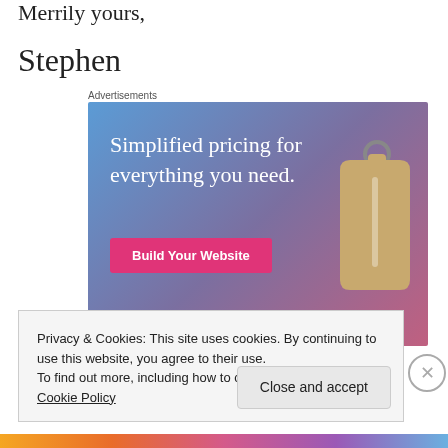Merrily yours,
Stephen
Advertisements
[Figure (illustration): Advertisement banner with gradient blue-purple-pink background showing text 'Simplified pricing for everything you need.' with a pink 'Build Your Website' button and a price tag graphic on the right.]
Privacy & Cookies: This site uses cookies. By continuing to use this website, you agree to their use.
To find out more, including how to control cookies, see here: Cookie Policy
Close and accept